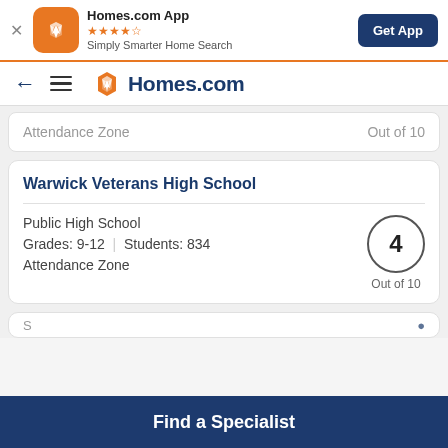Homes.com App · ★★★★☆ · Simply Smarter Home Search · Get App
← ☰ Homes.com
Attendance Zone   Out of 10
Warwick Veterans High School
Public High School
Grades: 9-12 | Students: 834
Attendance Zone
4 Out of 10
Find a Specialist